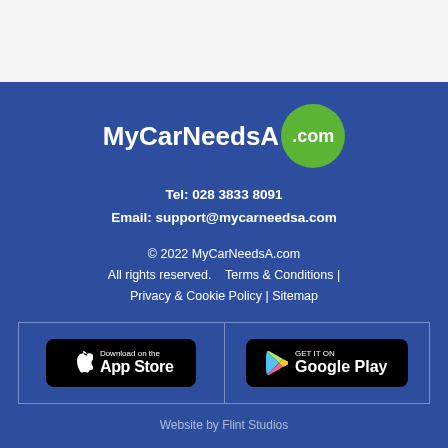[Figure (logo): MyCarNeedsA.com logo — bold white text 'MyCarNeedsA' with a green circle badge containing '.com']
Tel: 028 3833 8091
Email: support@mycarneedsa.com
© 2022 MyCarNeedsA.com
All rights reserved.    Terms & Conditions |
Privacy & Cookie Policy | Sitemap
[Figure (other): Download on the App Store badge (black rounded rectangle with Apple icon)]
[Figure (other): Get it on Google Play badge (black rounded rectangle with Google Play triangle icon)]
Website by Flint Studios